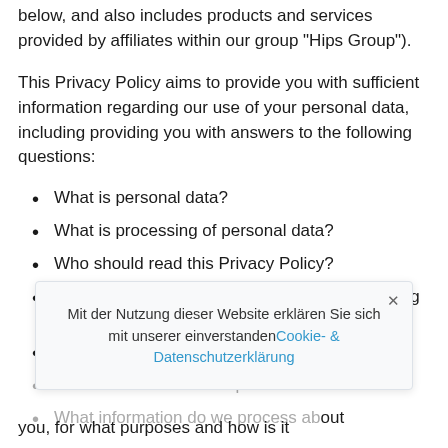below, and also includes products and services provided by affiliates within our group "Hips Group").
This Privacy Policy aims to provide you with sufficient information regarding our use of your personal data, including providing you with answers to the following questions:
What is personal data?
What is processing of personal data?
Who should read this Privacy Policy?
Does this Privacy Policy cover all our processing activities?
What does this Privacy Policy not cover?
In relation to whom is Hips a data controller?
What information do we process about you, for what purposes and how is it
Mit der Nutzung dieser Website erklären Sie sich mit unserer einverstanden Cookie- & Datenschutzerklärung